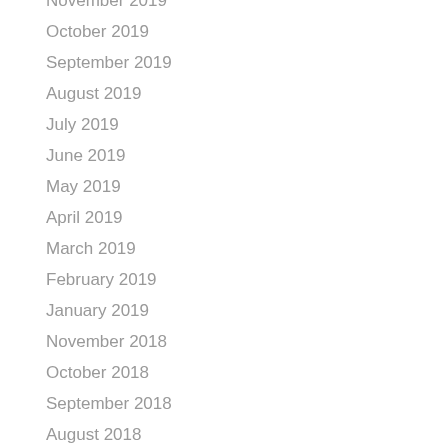November 2019
October 2019
September 2019
August 2019
July 2019
June 2019
May 2019
April 2019
March 2019
February 2019
January 2019
November 2018
October 2018
September 2018
August 2018